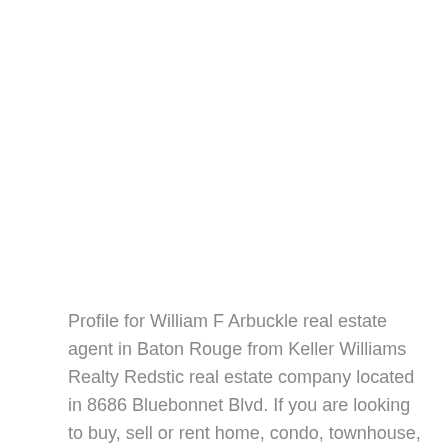Profile for William F Arbuckle real estate agent in Baton Rouge from Keller Williams Realty Redstic real estate company located in 8686 Bluebonnet Blvd. If you are looking to buy, sell or rent home, condo, townhouse, apartment or any other type of property in Baton Rouge, Louisiana, feel free to contact William F